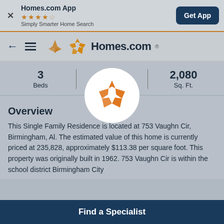[Figure (screenshot): Homes.com app promotional banner with star rating and Get App button]
Homes.com App ★★★★☆ Simply Smarter Home Search
[Figure (logo): Homes.com navigation bar with back arrow, menu icon, and Homes.com logo]
3 Beds | 2 Ba | 2,080 Sq. Ft.
[Figure (logo): Homes.com circular logo overlay in white circle]
Overview
This Single Family Residence is located at 753 Vaughn Cir, Birmingham, Al. The estimated value of this home is currently priced at 235,828, approximately $113.38 per square foot. This property was originally built in 1962. 753 Vaughn Cir is within the school district Birmingham City
Find a Specialist